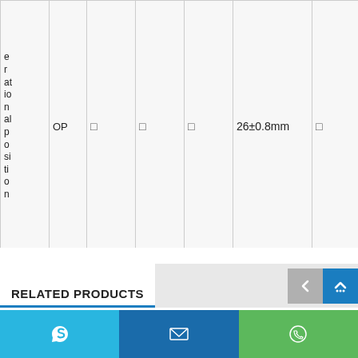|  |  |  |  |  | 26±0.8mm |  |  |  |
| --- | --- | --- | --- | --- | --- | --- | --- | --- |
| e
r
at
io
n
al
p
o
si
ti
o
n | OP | □ | □ | □ | 26±0.8mm |  | □ | □ |
RELATED PRODUCTS
[Figure (screenshot): Navigation buttons: grey back arrow and blue up arrow with dots]